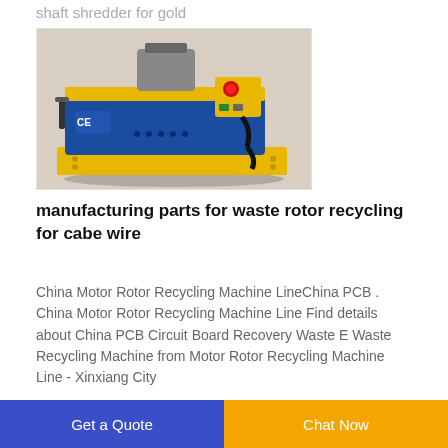shaft shredder for gold
[Figure (photo): A blue and yellow cable wire stripping/recycling machine with CE marking, motor and red emergency stop button on top, sitting on a yellow base platform.]
manufacturing parts for waste rotor recycling for cabe wire
China Motor Rotor Recycling Machine LineChina PCB . China Motor Rotor Recycling Machine Line Find details about China PCB Circuit Board Recovery Waste E Waste Recycling Machine from Motor Rotor Recycling Machine Line - Xinxiang City
Get a Quote  Chat Now